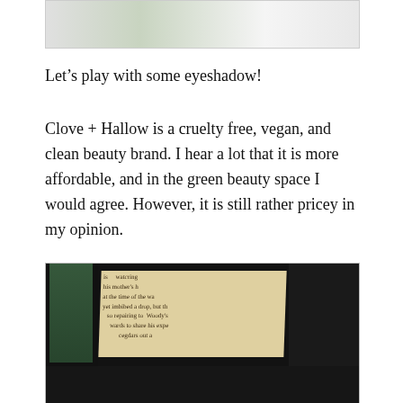[Figure (photo): Partial photo of cosmetic/eyeshadow product on marble surface, cropped at top]
Let’s play with some eyeshadow!
Clove + Hallow is a cruelty free, vegan, and clean beauty brand. I hear a lot that it is more affordable, and in the green beauty space I would agree. However, it is still rather pricey in my opinion.
[Figure (photo): Close-up photo of a black eyeshadow palette open, showing a page from a book printed inside the lid with partially visible text about watching, mother, time, drop, Woody, repairing, expenses, dollars]